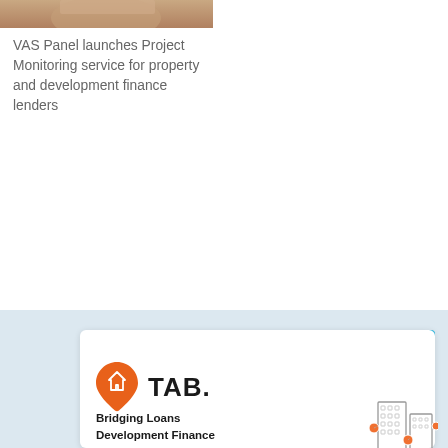[Figure (photo): Partial photo of a person (head/shoulders), cropped at top]
VAS Panel launches Project Monitoring service for property and development finance lenders
[Figure (illustration): Featured Lender card with TAB. logo (orange pin/house icon and bold TAB. text), and services listed: Bridging Loans, Development Finance, Property Investment, with building illustration on right]
Featured Lender
Bridging Loans
Development Finance
Property Investment